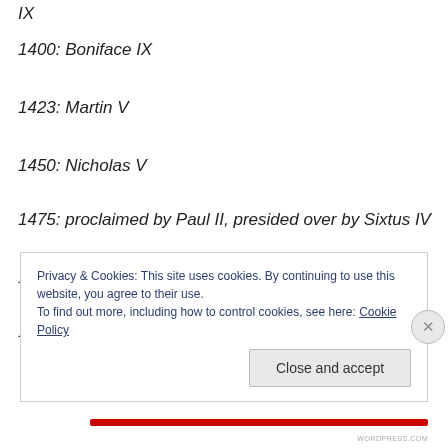IX
1400: Boniface IX
1423: Martin V
1450: Nicholas V
1475: proclaimed by Paul II, presided over by Sixtus IV
1500: Alexander VI
1525: Clement VII
Privacy & Cookies: This site uses cookies. By continuing to use this website, you agree to their use.
To find out more, including how to control cookies, see here: Cookie Policy
Close and accept